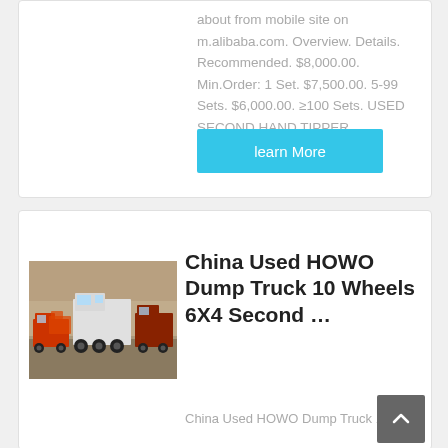about from mobile site on m.alibaba.com. Overview. Details. Recommended. $8,000.00. Min.Order: 1 Set. $7,500.00. 5-99 Sets. $6,000.00. ≥100 Sets. USED SECOND HAND TIPPER ...
learn More
[Figure (photo): Photo of used HOWO dump trucks parked in a lot, viewed from behind, showing multiple trucks]
China Used HOWO Dump Truck 10 Wheels 6X4 Second ...
China Used HOWO Dump Truck 10